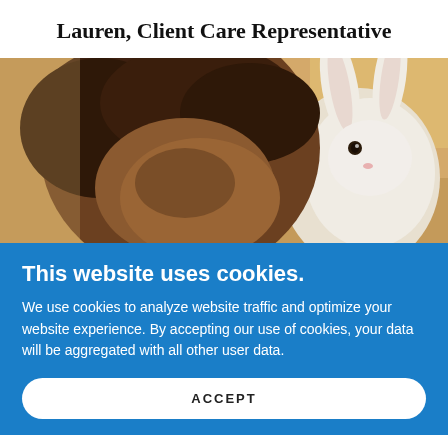Lauren, Client Care Representative
[Figure (photo): Close-up photo of a person with curly brown hair smiling closely with a white rabbit]
This website uses cookies.
We use cookies to analyze website traffic and optimize your website experience. By accepting our use of cookies, your data will be aggregated with all other user data.
ACCEPT